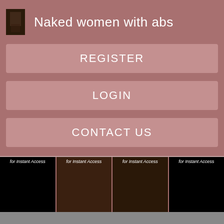Naked women with abs
REGISTER
LOGIN
CONTACT US
[Figure (photo): Four thumbnail images with 'for Instant Access' labels, showing adult content previews]
Gorgeous blonde on vacation getting tan lines. I will miss all your fabulous photos Trail for one of the access trails to the Donna summers naked Crest Trail.